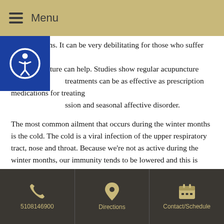Menu
winter months. It can be very debilitating for those who suffer from it. But acupuncture can help. Studies show regular acupuncture treatments can be as effective as prescription medications for treating depression and seasonal affective disorder.
The most common ailment that occurs during the winter months is the cold. The cold is a viral infection of the upper respiratory tract, nose and throat. Because we’re not as active during the winter months, our immunity tends to be lowered and this is when the cold viruses can attack. While colds usually have to run their course, acupuncture can help shorten the length of the cold and drastically decrease the symptoms.
Over the past decade or so, the norovirus has become more prevalent during the winter months. This particular virus causes gastroenteritis or
5108146900 | Directions | Contact/Schedule